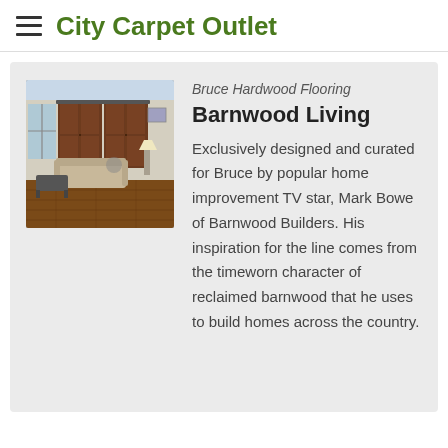City Carpet Outlet
[Figure (photo): Interior room with hardwood floors, barn doors, sofa, and coffee table]
Bruce Hardwood Flooring
Barnwood Living
Exclusively designed and curated for Bruce by popular home improvement TV star, Mark Bowe of Barnwood Builders. His inspiration for the line comes from the timeworn character of reclaimed barnwood that he uses to build homes across the country.